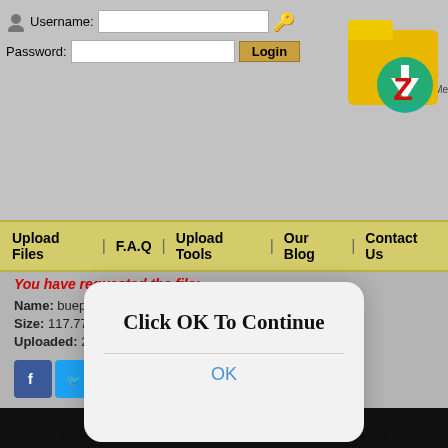[Figure (screenshot): Website login form with Username and Password fields, Login button, Remember Me checkbox, and Forgot Password link. Folder/zip logo in top right corner.]
Upload Files | F.A.Q | Upload Tools | Our Blog | Contact Us
[Figure (screenshot): Modal dialog popup with rounded corners showing 'Click OK To Continue' title and an OK link button in blue.]
You have requested the file:
Name: bueperiodosqz-09.mp4
Size: 117.77 MB
Uploaded: 20-11-2021 22:34
[Figure (screenshot): Social media sharing buttons: Facebook, Twitter, Pinterest, Google+, Reddit, Email, More]